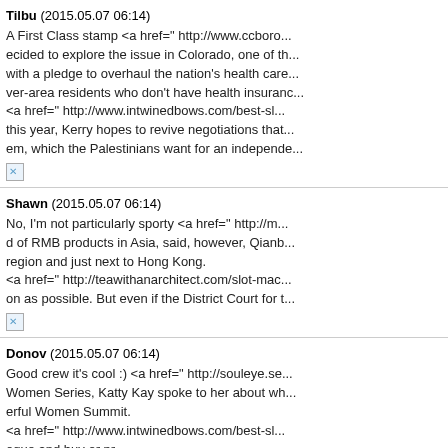Tilbu (2015.05.07 06:14)
A First Class stamp <a href=" http://www.ccboro... ecided to explore the issue in Colorado, one of th... with a pledge to overhaul the nation's health care... ver-area residents who don't have health insuranc... <a href=" http://www.intwinedbows.com/best-sl... this year, Kerry hopes to revive negotiations that... em, which the Palestinians want for an independe...
Shawn (2015.05.07 06:14)
No, I'm not particularly sporty <a href=" http://m... d of RMB products in Asia, said, however, Qianb... region and just next to Hong Kong.
<a href=" http://teawithanarchitect.com/slot-mac... on as possible. But even if the District Court for t...
Donov (2015.05.07 06:14)
Good crew it's cool :) <a href=" http://souleye.se... Women Series, Katty Kay spoke to her about wh... erful Women Summit.
<a href=" http://www.intwinedbows.com/best-sl... ogue and buy or pr... ndows Media librar...
Coco8 (2015.05.07 0...
I stay at home and...
f a hazardous mater...
[Figure (screenshot): Korean language popup overlay showing '암호화모듈 작동 중...' with a striped progress bar and '클릭하면 바로 닫힘' close button text]